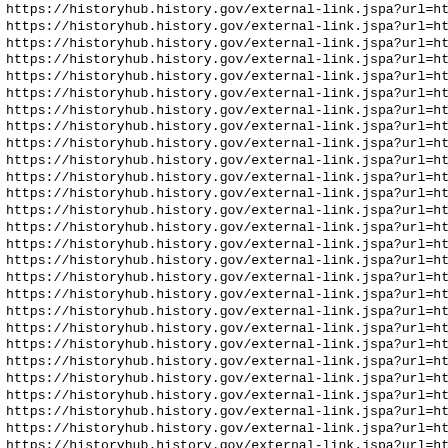https://historyhub.history.gov/external-link.jspa?url=https (repeated 30 times)